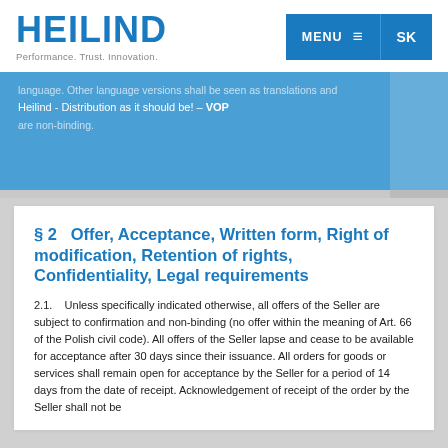[Figure (logo): Heilind logo with tagline 'Performance. Trust. Innovation.']
MENU  ≡  SK
language. Other language versions shall be seen as translations and are non-binding.
Heilind - Distribution as it should be! – VOP
§ 2   Offer, Acceptance, Written form, Right of modification, Retention of rights, Confidentiality, Legal requirements
2.1.    Unless specifically indicated otherwise, all offers of the Seller are subject to confirmation and non-binding (no offer within the meaning of Art. 66 of the Polish civil code). All offers of the Seller lapse and cease to be available for acceptance after 30 days since their issuance. All orders for goods or services shall remain open for acceptance by the Seller for a period of 14 days from the date of receipt. Acknowledgement of receipt of the order by the Seller shall not be